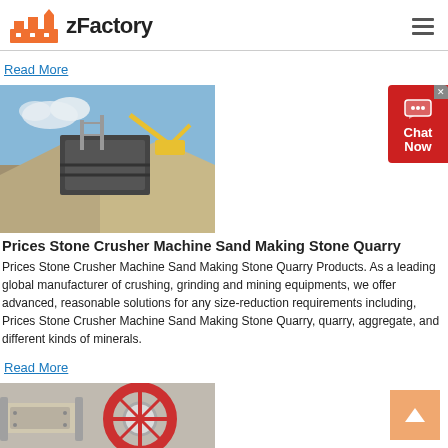zFactory
Read More
[Figure (photo): Outdoor stone crusher machine and excavator at a quarry site with gravel piles]
Prices Stone Crusher Machine Sand Making Stone Quarry
Prices Stone Crusher Machine Sand Making Stone Quarry Products. As a leading global manufacturer of crushing, grinding and mining equipments, we offer advanced, reasonable solutions for any size-reduction requirements including, Prices Stone Crusher Machine Sand Making Stone Quarry, quarry, aggregate, and different kinds of minerals.
Read More
[Figure (photo): Close-up of industrial machinery with a large circular wheel/drum component, possibly a ball mill or similar grinding equipment]